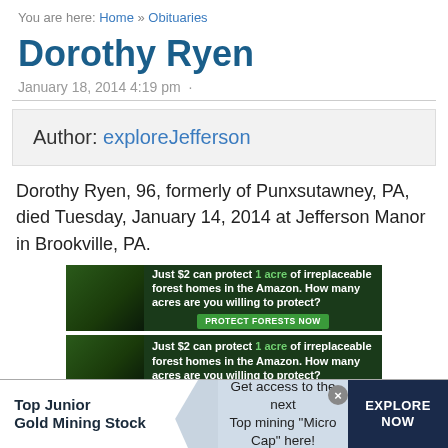You are here: Home » Obituaries
Dorothy Ryen
January 18, 2014 4:19 pm
Author: exploreJefferson
Dorothy Ryen, 96, formerly of Punxsutawney, PA, died Tuesday, January 14, 2014 at Jefferson Manor in Brookville, PA.
[Figure (photo): Advertisement: Just $2 can protect 1 acre of irreplaceable forest homes in the Amazon. How many acres are you willing to protect? PROTECT FORESTS NOW]
[Figure (photo): Advertisement: Just $2 can protect 1 acre of irreplaceable forest homes in the Amazon. How many acres are you willing to protect?]
[Figure (infographic): Bottom banner ad: Top Junior Gold Mining Stock — Get access to the next Top mining 'Micro Cap' here! EXPLORE NOW]